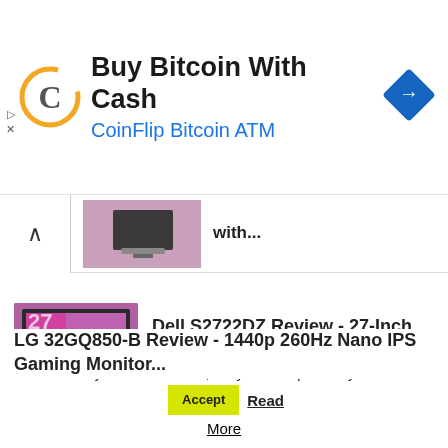[Figure (infographic): Ad banner for CoinFlip Bitcoin ATM with logo, navigation arrow icon, play and close icons]
with...
Dell S2722DZ Review - 27-Inch 1440p Conferencing Monitor with USB-C
LG 32GQ850-B Review - 1440p 260Hz Nano IPS Gaming Monitor...
This website uses cookies to improve your experience. We'll assume you're ok with this, but you can opt-out if you wish. Accept Read More